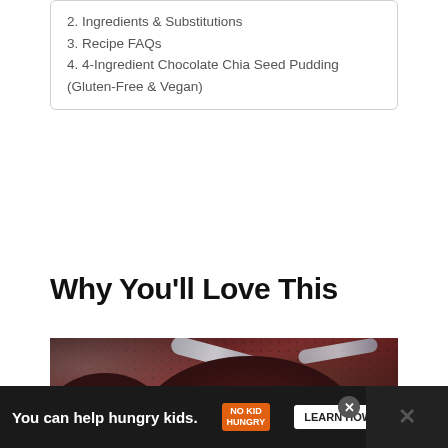2. Ingredients & Substitutions
3. Recipe FAQs
4. 4-Ingredient Chocolate Chia Seed Pudding (Gluten-Free & Vegan)
Why You’ll Love This
[Figure (photo): Overhead photo of chocolate chia seed pudding bowls topped with raspberries, sliced almonds, chia seeds, and chocolate chips, with spoons visible in the background.]
You can help hungry kids. | NO KID HUNGRY | LEARN HOW